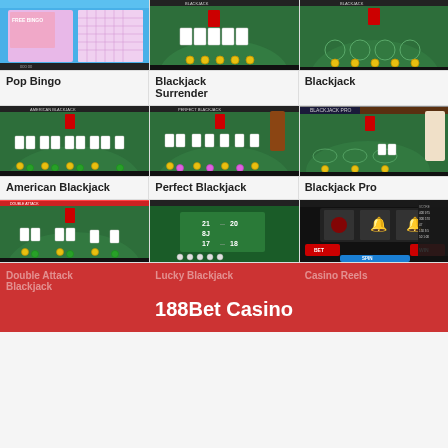[Figure (screenshot): Pop Bingo game screenshot - colorful bingo game with pink and blue interface]
Pop Bingo
[Figure (screenshot): Blackjack Surrender game screenshot - green felt table with cards and chips]
Blackjack Surrender
[Figure (screenshot): Blackjack game screenshot - green felt table view]
Blackjack
[Figure (screenshot): American Blackjack game screenshot - green felt table with multiple card positions]
American Blackjack
[Figure (screenshot): Perfect Blackjack game screenshot - green felt table]
Perfect Blackjack
[Figure (screenshot): Blackjack Pro game screenshot - green felt table with oval betting spots]
Blackjack Pro
[Figure (screenshot): Double Attack Blackjack game screenshot - partial view]
[Figure (screenshot): Lucky Blackjack game screenshot - partial view showing score numbers 21, 8J, 17, 18, 20]
[Figure (screenshot): Casino Reels slot machine screenshot - fruits and bells on dark background]
Double Attack Blackjack
Lucky Blackjack
Casino Reels
188Bet Casino